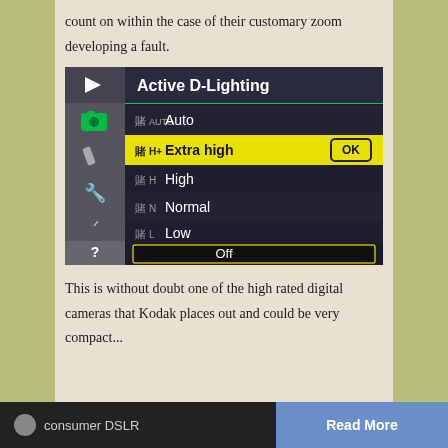count on within the case of their customary zoom developing a fault.
[Figure (screenshot): Camera screen showing Active D-Lighting menu with options: Auto, Extra high (selected/highlighted in yellow with OK), High, Normal, Low, Off. A vertical sidebar shows camera menu icons.]
This is without doubt one of the high rated digital cameras that Kodak places out and could be very compact...
consumer DSLR   Read More